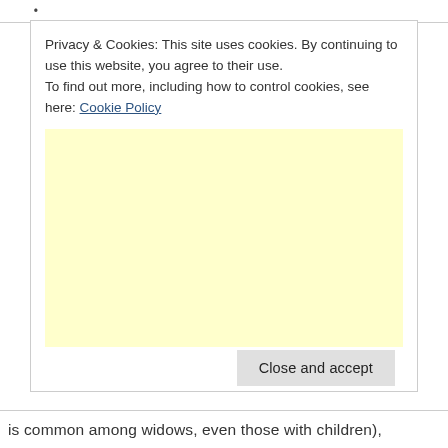is common among widows, even those with children),
Privacy & Cookies: This site uses cookies. By continuing to use this website, you agree to their use.
To find out more, including how to control cookies, see here: Cookie Policy
[Figure (other): Yellow/cream colored advertisement placeholder box]
Close and accept
is common among widows, even those with children),